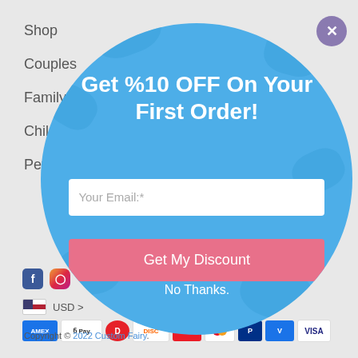Shop
Couples
Family
Children
Pets
Get %10 OFF On Your First Order!
Your Email:*
Get My Discount
No Thanks.
Copyright © 2022 Custom Fairy.